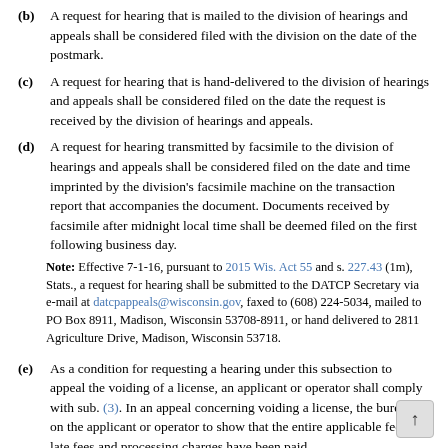(b) A request for hearing that is mailed to the division of hearings and appeals shall be considered filed with the division on the date of the postmark.
(c) A request for hearing that is hand-delivered to the division of hearings and appeals shall be considered filed on the date the request is received by the division of hearings and appeals.
(d) A request for hearing transmitted by facsimile to the division of hearings and appeals shall be considered filed on the date and time imprinted by the division's facsimile machine on the transaction report that accompanies the document. Documents received by facsimile after midnight local time shall be deemed filed on the first following business day.
Note: Effective 7-1-16, pursuant to 2015 Wis. Act 55 and s. 227.43 (1m), Stats., a request for hearing shall be submitted to the DATCP Secretary via e-mail at datcpappeals@wisconsin.gov, faxed to (608) 224-5034, mailed to PO Box 8911, Madison, Wisconsin 53708-8911, or hand delivered to 2811 Agriculture Drive, Madison, Wisconsin 53718.
(e) As a condition for requesting a hearing under this subsection to appeal the voiding of a license, an applicant or operator shall comply with sub. (3). In an appeal concerning voiding a license, the burden is on the applicant or operator to show that the entire applicable fees, late fees and processing charges have been paid.